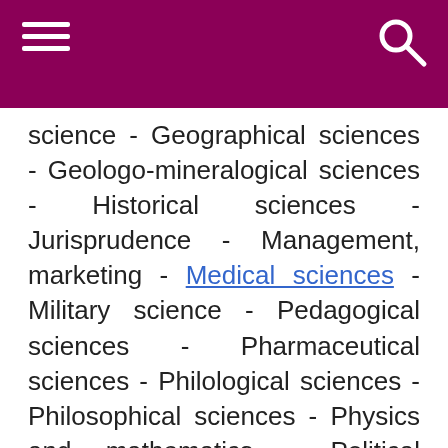Navigation header with hamburger menu and search icon
science - Geographical sciences - Geologo-mineralogical sciences - Historical sciences - Jurisprudence - Management, marketing - Medical sciences - Military science - Pedagogical sciences - Pharmaceutical sciences - Philological sciences - Philosophical sciences - Physics and mathematics - Political sciences - Psychological sciences - Sciences about the Earth - Sociological sciences - Veterinary sciences -